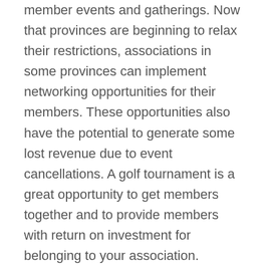member events and gatherings. Now that provinces are beginning to relax their restrictions, associations in some provinces can implement networking opportunities for their members. These opportunities also have the potential to generate some lost revenue due to event cancellations. A golf tournament is a great opportunity to get members together and to provide members with return on investment for belonging to your association.
As each province adapts to legislation pertaining to re-opening, the golf model changes. However, there are ways to host a tournament that will still provide an excellent day for association members. Below are a few reasons to host a golf tournament and other